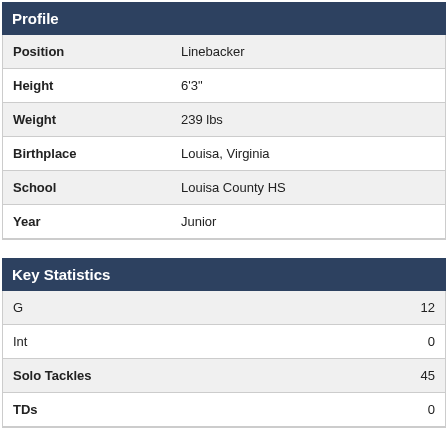Profile
| Field | Value |
| --- | --- |
| Position | Linebacker |
| Height | 6'3" |
| Weight | 239 lbs |
| Birthplace | Louisa, Virginia |
| School | Louisa County HS |
| Year | Junior |
Key Statistics
| Stat | Value |
| --- | --- |
| G | 12 |
| Int | 0 |
| Solo Tackles | 45 |
| TDs | 0 |